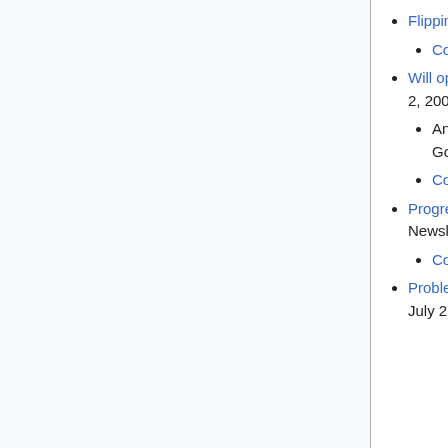Flipping a journal to open access, SPARC Open Access Newsletter, October 2, 2007.
  Copy in DASH.
Will open access undermine peer review? SPARC Open Access Newsletter, September 2, 2007.
  An abridged version of this article was translated into Dutch by Karen van Godtsenhoven.
  Copy in DASH.
Progress toward an OA mandate at the NIH, one more time, SPARC Open Access Newsletter, August 2, 2007.
  Copy in DASH.
Problems and opportunities (blizzards and beauty), SPARC Open Access Newsletter, July 2,